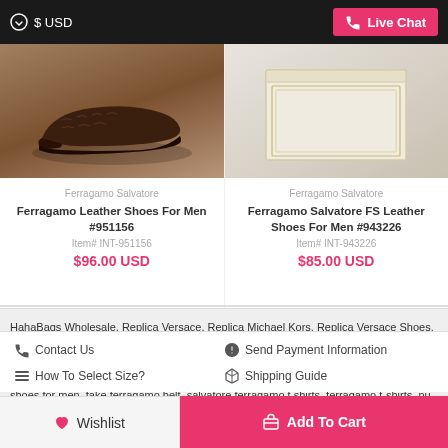$ USD   Live Chat
[Figure (photo): Ferragamo crocodile leather shoe on wooden floor]
Ferragamo Salvatore
Ferragamo Leather Shoes For Men #951156
Item# INT-951156
$96.00 USD
[Figure (photo): Ferragamo Salvatore item in cream/beige packaging]
Ferragamo Salvatore
Ferragamo Salvatore FS Leather Shoes For Men #943226
Item# INT-943226
$85.00 USD
HahaBags Wholesale, Replica Versace, Replica Michael Kors, Replica Versace Shoes, Replica Zanotti ferragamo shoes, ferragamo t shirt, salvatore ferragamo shoes, salvatore ferragamo t shirt, salvatore ferragamo fake shoes from replica, ferragamo shirts, ferragamo belts, replica ferragamo shoes, ferragamo knockoff shoes, ferragamo shoes for men, fake ferragamo belt, salvatore ferragamo t shirts, ferragamo t-shirts, nu vot, fake ferragamo belts
Contact Us
Send Payment Information
How To Select Size?
Shipping Guide
Wishlist
Add To Cart